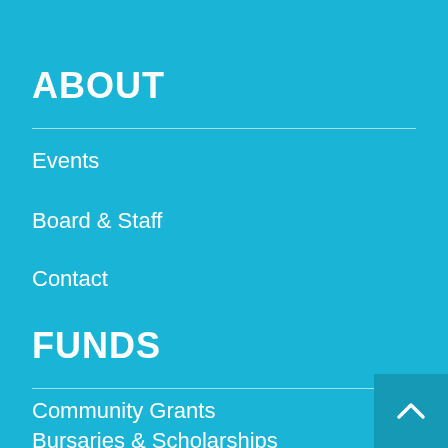ABOUT
Events
Board & Staff
Contact
FUNDS
Community Grants
Bursaries & Scholarships